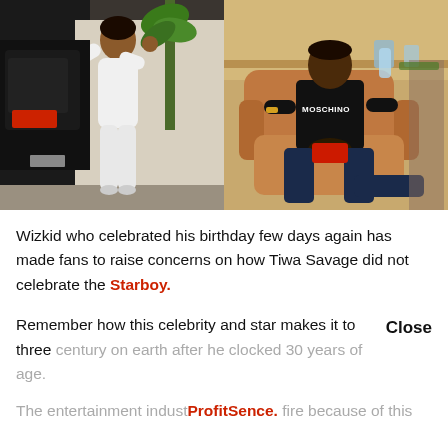[Figure (photo): Two side-by-side photos: left shows a woman in a white outfit posing outside next to a black van and a palm plant; right shows a man wearing a Moschino black t-shirt sitting in a tan leather recliner chair.]
Wizkid who celebrated his birthday few days again has made fans to raise concerns on how Tiwa Savage did not celebrate the Starboy.
Remember how this celebrity and star makes it to three century on earth after he clocked 30 years of age.
The entertainment indust ProfitSence. fire because of this